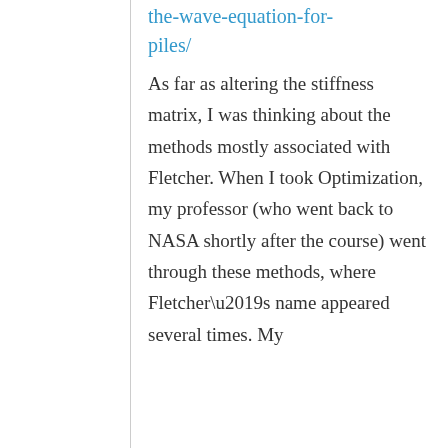the-wave-equation-for-piles/
As far as altering the stiffness matrix, I was thinking about the methods mostly associated with Fletcher. When I took Optimization, my professor (who went back to NASA shortly after the course) went through these methods, where Fletcher’s name appeared several times. My